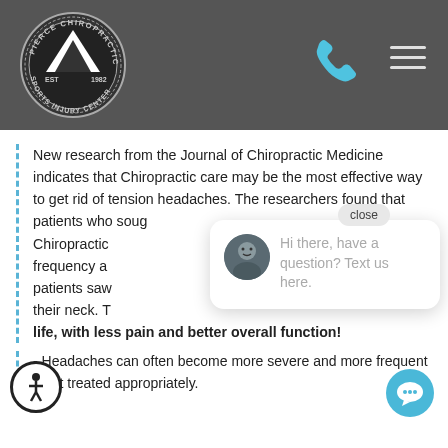[Figure (logo): Pierce Chiropractic Sports Injury Center circular logo with mountain/chevron symbol, EST 1982]
New research from the Journal of Chiropractic Medicine indicates that Chiropractic care may be the most effective way to get rid of tension headaches. The researchers found that patients who sought Chiropractic care had a significant reduction in the frequency and intensity of their headaches. These patients saw a significant decrease in pain coming from their neck. These patients reported an improved quality of life, with less pain and better overall function!
- Headaches can often become more severe and more frequent if not treated appropriately.